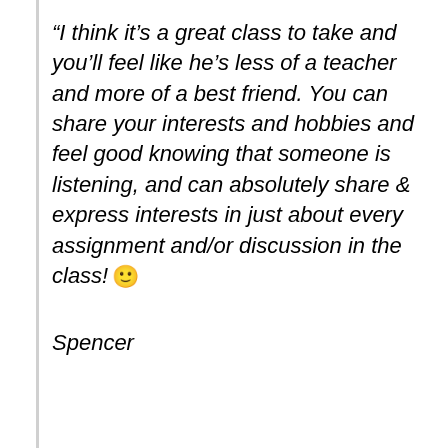“I think it’s a great class to take and you’ll feel like he’s less of a teacher and more of a best friend. You can share your interests and hobbies and feel good knowing that someone is listening, and can absolutely share & express interests in just about every assignment and/or discussion in the class! 🙂
Spencer